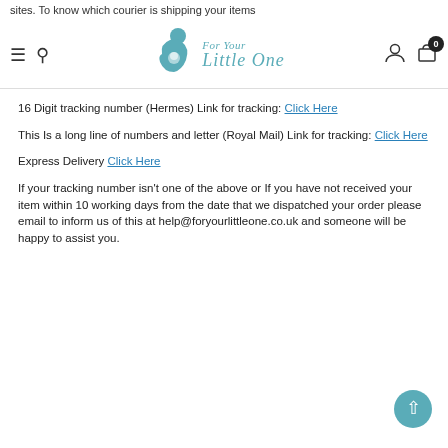sites. To know which courier is shipping your items
[Figure (logo): For Your Little One logo with mother and baby silhouette in teal]
16 Digit tracking number (Hermes) Link for tracking: Click Here
This Is a long line of numbers and letter (Royal Mail) Link for tracking: Click Here
Express Delivery Click Here
If your tracking number isn't one of the above or If you have not received your item within 10 working days from the date that we dispatched your order please email to inform us of this at help@foryourlittleone.co.uk and someone will be happy to assist you.